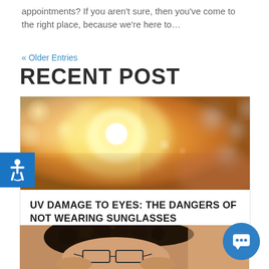appointments? If you aren't sure, then you've come to the right place, because we're here to…
« Older Entries
RECENT POST
[Figure (photo): Bright sunlight with golden bokeh blur, sunburst effect against sky]
UV DAMAGE TO EYES: THE DANGERS OF NOT WEARING SUNGLASSES
[Figure (photo): Person with curly hair wearing glasses, looking down]
[Figure (other): Accessibility icon - blue square with wheelchair symbol]
[Figure (other): Blue circular chat button with speech bubble icon]